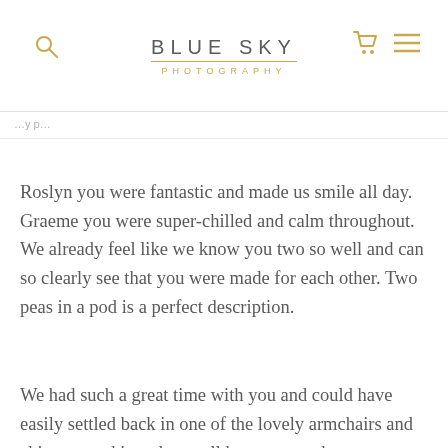BLUE SKY PHOTOGRAPHY
Roslyn you were fantastic and made us smile all day. Graeme you were super-chilled and calm throughout. We already feel like we know you two so well and can so clearly see that you were made for each other. Two peas in a pod is a perfect description.
We had such a great time with you and could have easily settled back in one of the lovely armchairs and chin-wagged into the small hours… maybe over a